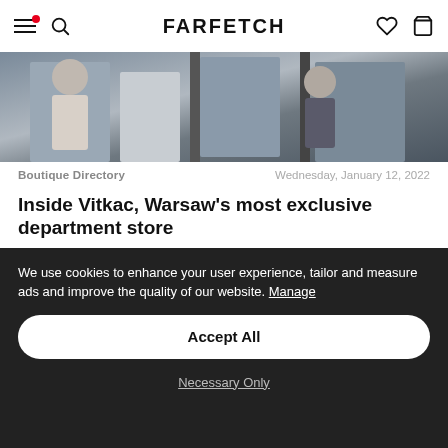FARFETCH
[Figure (photo): Partial photo showing people in a clothing store or fashion environment]
Boutique Directory   Wednesday, January 12, 2022
Inside Vitkac, Warsaw's most exclusive department store
Creative director Sara Boruc Mannei goes behind the scenes
Read More
We use cookies to enhance your user experience, tailor and measure ads and improve the quality of our website. Manage
Accept All
Necessary Only